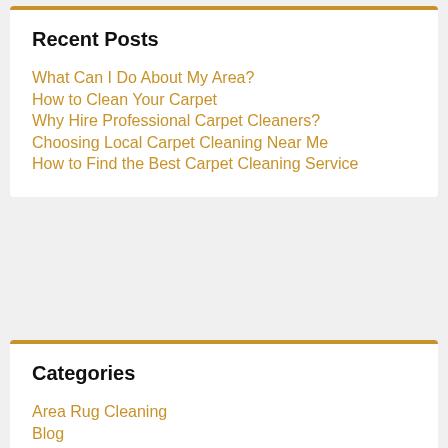Recent Posts
What Can I Do About My Area?
How to Clean Your Carpet
Why Hire Professional Carpet Cleaners?
Choosing Local Carpet Cleaning Near Me
How to Find the Best Carpet Cleaning Service
Categories
Area Rug Cleaning
Blog